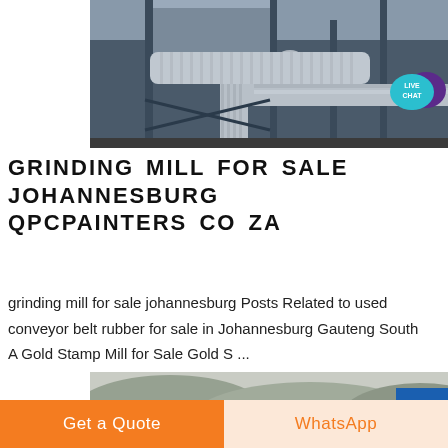[Figure (photo): Industrial grinding mill or processing plant exterior showing large pipes, ducts, and metal framework structures]
[Figure (logo): Live Chat badge — teal speech bubble with 'LIVE CHAT' text and purple speech bubble icon]
GRINDING MILL FOR SALE JOHANNESBURG QPCPAINTERS CO ZA
grinding mill for sale johannesburg Posts Related to used conveyor belt rubber for sale in Johannesburg Gauteng South A Gold Stamp Mill for Sale Gold S ...
[Figure (photo): Outdoor industrial or mining site with hills and trees in background, misty scene]
Get a Quote   WhatsApp